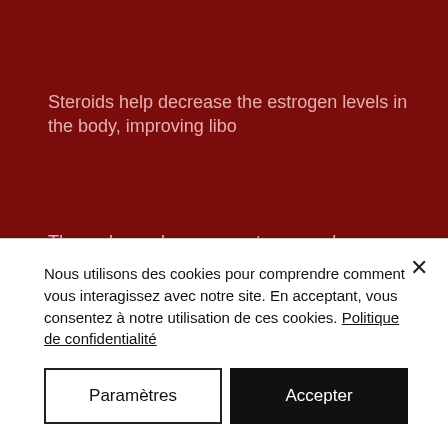Steroids help decrease the estrogen levels in the body, improving libo
The male sex hormone estrogen enhances bone growth and enhance
Steroids can improve athletic performance in some cases. For examp their normal counterparts, buy anabolics canada.
Steroids can be beneficial to those who have low testosterone levels hormones influence sexual behavior and bone mass, using steroids c
Nous utilisons des cookies pour comprendre comment vous interagissez avec notre site. En acceptant, vous consentez à notre utilisation de ces cookies. Politique de confidentialité
Paramètres
Accepter